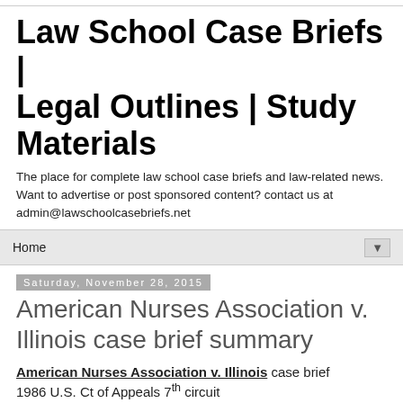Law School Case Briefs | Legal Outlines | Study Materials
The place for complete law school case briefs and law-related news. Want to advertise or post sponsored content? contact us at admin@lawschoolcasebriefs.net
Home ▼
Saturday, November 28, 2015
American Nurses Association v. Illinois case brief summary
American Nurses Association v. Illinois case brief
1986 U.S. Ct of Appeals 7th circuit